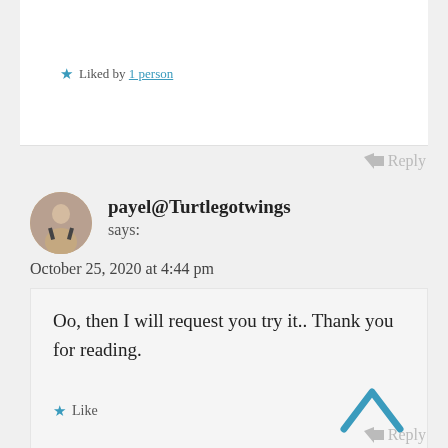Liked by 1 person
Reply
payel@Turtlegotwings says:
October 25, 2020 at 4:44 pm
Oo, then I will request you try it.. Thank you for reading.
Like
Reply